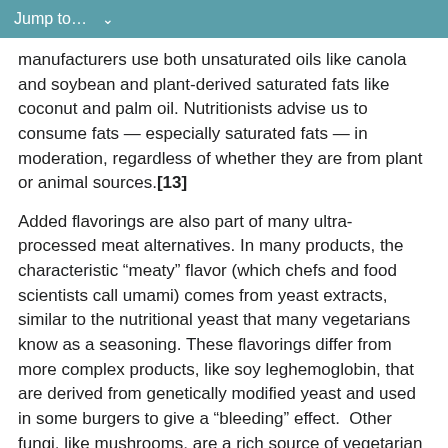Jump to…
manufacturers use both unsaturated oils like canola and soybean and plant-derived saturated fats like coconut and palm oil. Nutritionists advise us to consume fats — especially saturated fats — in moderation, regardless of whether they are from plant or animal sources.[13]
Added flavorings are also part of many ultra-processed meat alternatives. In many products, the characteristic “meaty” flavor (which chefs and food scientists call umami) comes from yeast extracts, similar to the nutritional yeast that many vegetarians know as a seasoning. These flavorings differ from more complex products, like soy leghemoglobin, that are derived from genetically modified yeast and used in some burgers to give a “bleeding” effect. Other fungi, like mushrooms, are a rich source of vegetarian umami flavoring, so some products incorporate mushroom extracts, especially fermented, their juice